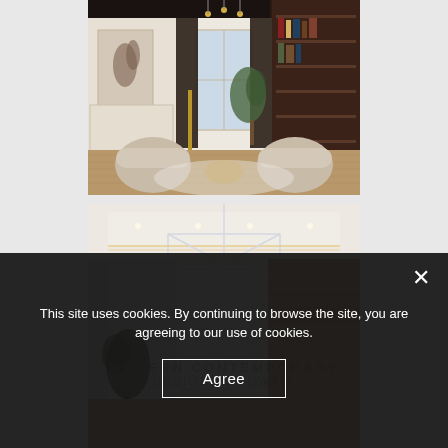[Figure (photo): Interior design render of a luxury living/study room with two curved beige armchairs, a golden side table, dark curtains, a tall window, a bookshelf on the right, abstract wall art on the left, herringbone wood floor, and a modern chandelier.]
[Figure (photo): Interior design render of a luxury room with a modern geometric ceiling chandelier, white paneled doors, herringbone wood floor, sheer curtains, and a tropical plant, partially obscured by cookie consent overlay text reading MODERN CONTEMPORARY DESIGN IN KUWAIT.]
This site uses cookies. By continuing to browse the site, you are agreeing to our use of cookies.
Agree